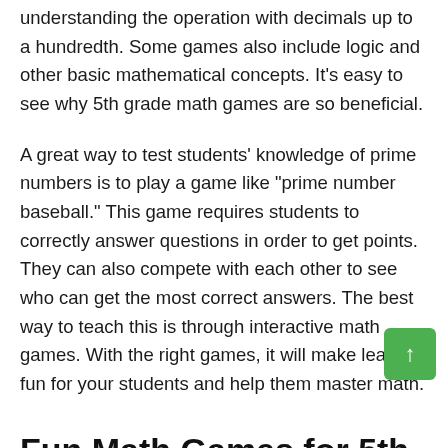understanding the operation with decimals up to a hundredth. Some games also include logic and other basic mathematical concepts. It's easy to see why 5th grade math games are so beneficial.
A great way to test students' knowledge of prime numbers is to play a game like "prime number baseball." This game requires students to correctly answer questions in order to get points. They can also compete with each other to see who can get the most correct answers. The best way to teach this is through interactive math games. With the right games, it will make learning fun for your students and help them master math.
Fun Math Games for 5th graders